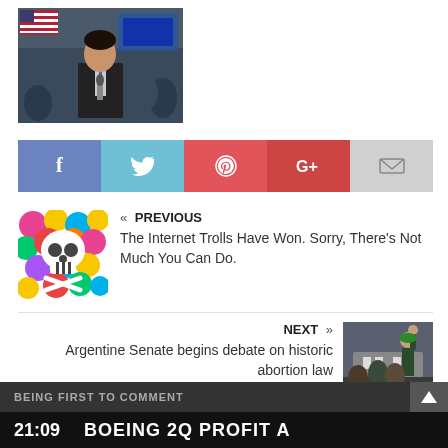[Figure (photo): A male news reporter standing in front of an American flag at a crowded event venue]
[Figure (infographic): Social sharing buttons: Facebook (blue), Twitter (light blue), Pinterest (red), Google+ (red), Email (gray)]
« PREVIOUS
The Internet Trolls Have Won. Sorry, There's Not Much You Can Do.
NEXT »
Argentine Senate begins debate on historic abortion law
BEING FIRST TO COMMENT
21:09  BOEING 2Q PROFIT A